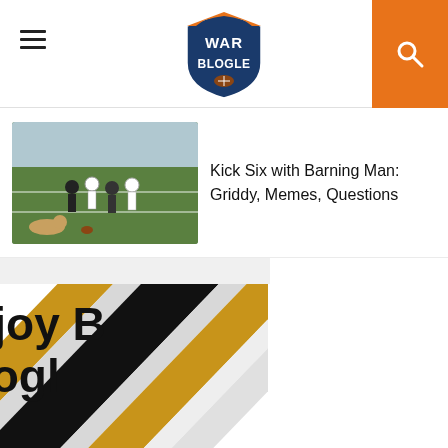War Blogle — navigation header with hamburger menu, logo, and search icon
[Figure (screenshot): Article thumbnail showing football players on a field]
Kick Six with Barning Man: Griddy, Memes, Questions
Be a fan. Enjoy B
Get more Blogl
[Figure (illustration): Decorative diagonal stripes in gold, black, and white]
Email
Sign Up